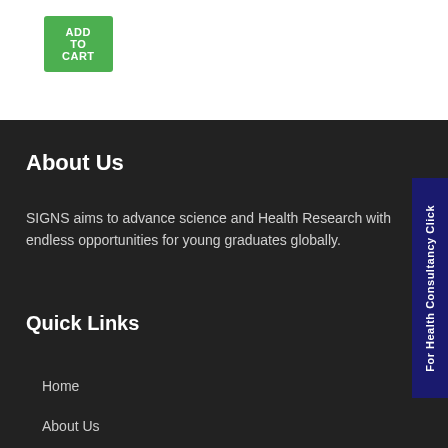ADD TO CART
ADD TO CART
About Us
SIGNS aims to advance science and Health Research with endless opportunities for young graduates globally.
Quick Links
Home
About Us
For Health Consultancy Click